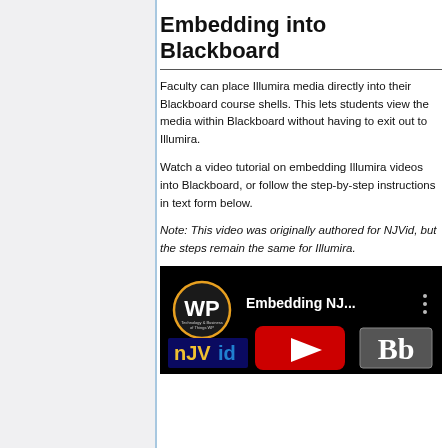Embedding into Blackboard
Faculty can place Illumira media directly into their Blackboard course shells. This lets students view the media within Blackboard without having to exit out to Illumira.
Watch a video tutorial on embedding Illumira videos into Blackboard, or follow the step-by-step instructions in text form below.
Note: This video was originally authored for NJVid, but the steps remain the same for Illumira.
[Figure (screenshot): YouTube video thumbnail showing 'Embedding NJ...' video with WP logo, NJVid logo, YouTube play button, and Blackboard Bb logo on black background]